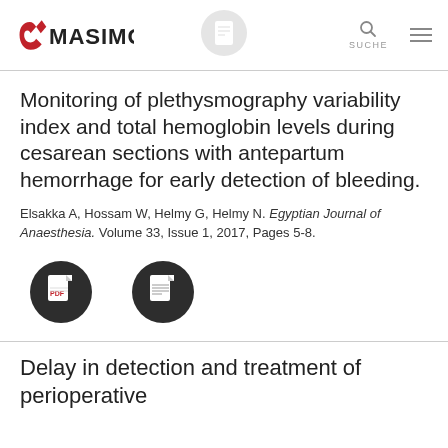Masimo — navigation header with logo, document icon, search (SUCHE), and menu
Monitoring of plethysmography variability index and total hemoglobin levels during cesarean sections with antepartum hemorrhage for early detection of bleeding.
Elsakka A, Hossam W, Helmy G, Helmy N. Egyptian Journal of Anaesthesia. Volume 33, Issue 1, 2017, Pages 5-8.
[Figure (other): Two dark circular document icons side by side — a PDF icon (left) and a document/text icon (right)]
Delay in detection and treatment of perioperative